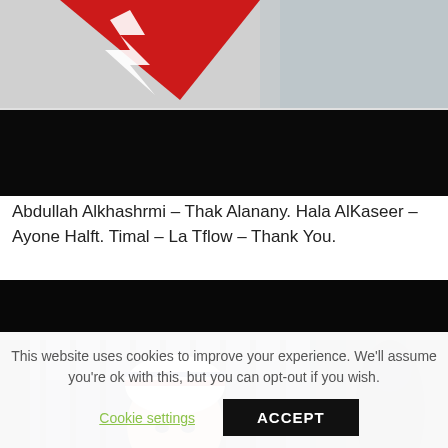[Figure (screenshot): Top portion of a music website screenshot showing a red triangular logo with white lightning bolt graphic on a grey/white background, with a black banner below it.]
Abdullah Alkhashrmi – Thak Alanany. Hala AlKaseer – Ayone Halft. Timal – La Tflow – Thank You.
[Figure (photo): A person wearing a white and red striped beanie hat, photographed through what appears to be a fence or bars, in a dark urban setting. Another dark figure is visible on the right.]
This website uses cookies to improve your experience. We'll assume you're ok with this, but you can opt-out if you wish.
Cookie settings   ACCEPT